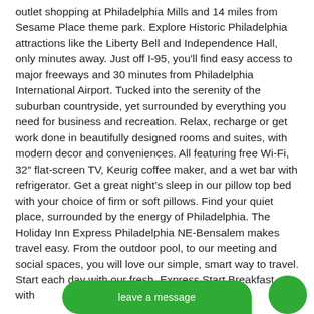outlet shopping at Philadelphia Mills and 14 miles from Sesame Place theme park. Explore Historic Philadelphia attractions like the Liberty Bell and Independence Hall, only minutes away. Just off I-95, you'll find easy access to major freeways and 30 minutes from Philadelphia International Airport. Tucked into the serenity of the suburban countryside, yet surrounded by everything you need for business and recreation. Relax, recharge or get work done in beautifully designed rooms and suites, with modern decor and conveniences. All featuring free Wi-Fi, 32″ flat-screen TV, Keurig coffee maker, and a wet bar with refrigerator. Get a great night's sleep in our pillow top bed with your choice of firm or soft pillows. Find your quiet place, surrounded by the energy of Philadelphia. The Holiday Inn Express Philadelphia NE-Bensalem makes travel easy. From the outdoor pool, to our meeting and social spaces, you will love our simple, smart way to travel. Start each day with our fresh, Express Start Breakfast, with biso
[Figure (other): Green chat bubble overlay with 'leave a message' text at the bottom of the page, and a smaller green circle to the right]